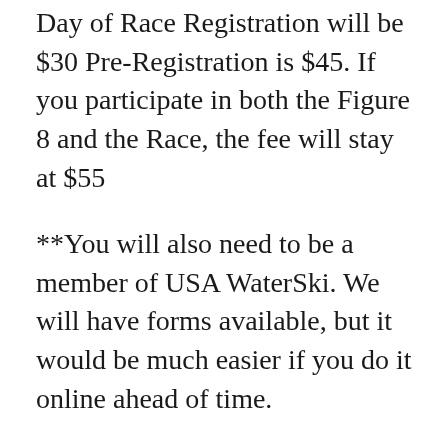Day of Race Registration will be $30 Pre-Registration is $45. If you participate in both the Figure 8 and the Race, the fee will stay at $55
**You will also need to be a member of USA WaterSki. We will have forms available, but it would be much easier if you do it online ahead of time.
They no longer offer a $10 Temporary Membership, but they have added a Grass Roots Active Membership for $35 that will work for all of the Figure 8 events (provided they are sanctioned as Grass Root Events, which most are. Please print out your membership card and have that available at registration. The Membership is good for 1 year from the date of registration. (THIS IS